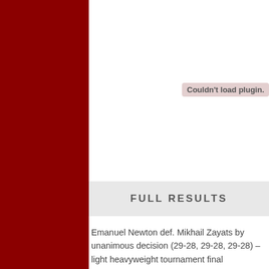Couldn't load plugin.
FULL RESULTS
Emanuel Newton def. Mikhail Zayats by unanimous decision (29-28, 29-28, 29-28) – light heavyweight tournament final
David Rickels def. Saad Awad by TKO (punch), Round 2, 5:00 – lightweight tournament final